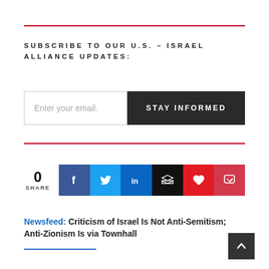SUBSCRIBE TO OUR U.S. – ISRAEL ALLIANCE UPDATES:
Enter your email.
STAY INFORMED
0 SHARE
Newsfeed: Criticism of Israel Is Not Anti-Semitism; Anti-Zionism Is via Townhall